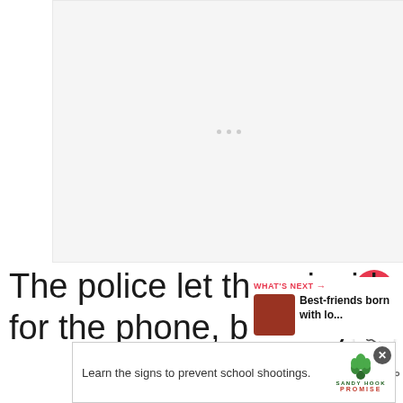[Figure (other): Blank/loading image placeholder with three grey dots in the center indicating loading state]
The police let them inside the room to search for the phone, but they couldn't find it.
[Figure (other): WHAT'S NEXT card showing a thumbnail of children and title 'Best-friends born with lo...']
[Figure (other): Advertisement banner: 'Learn the signs to prevent school shootings.' with Sandy Hook Promise logo and tree graphic]